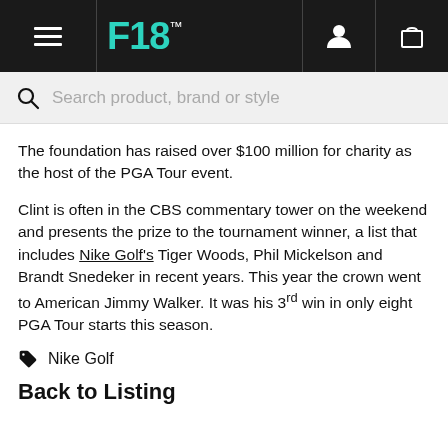F18™ [navigation header with hamburger menu, logo, user icon, cart icon]
Search product, brand or style
The foundation has raised over $100 million for charity as the host of the PGA Tour event.
Clint is often in the CBS commentary tower on the weekend and presents the prize to the tournament winner, a list that includes Nike Golf's Tiger Woods, Phil Mickelson and Brandt Snedeker in recent years. This year the crown went to American Jimmy Walker. It was his 3rd win in only eight PGA Tour starts this season.
Nike Golf
Back to Listing